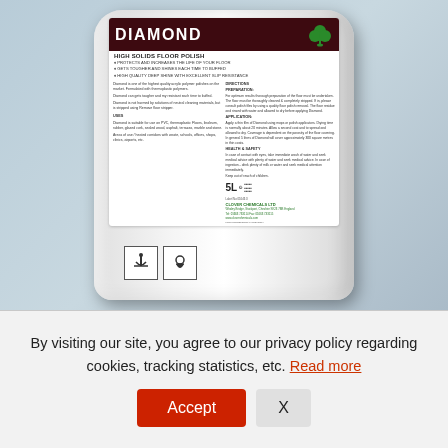[Figure (photo): Diamond High Solids Floor Polish 5L bottle by Clover Chemicals Ltd, white plastic bottle with dark maroon label showing product name, bullet points, directions, uses, health and safety information, and two safety icons at the bottom.]
By visiting our site, you agree to our privacy policy regarding cookies, tracking statistics, etc. Read more
Accept
X